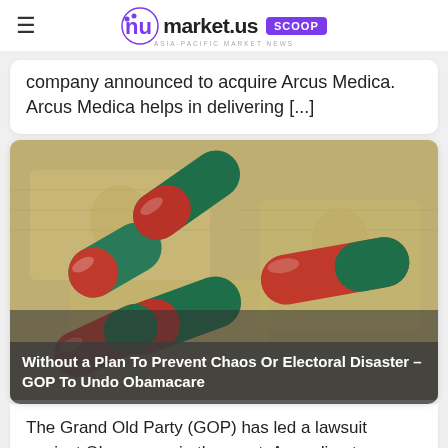market.us SCOOP ASIA-PACIFIC MARKET NEWS
company announced to acquire Arcus Medica. Arcus Medica helps in delivering [...]
[Figure (photo): Photograph of red and dark green capsule pills scattered on US dollar currency bills]
Without a Plan To Prevent Chaos Or Electoral Disaster – GOP To Undo Obamacare
The Grand Old Party (GOP) has led a lawsuit against Obamacare in the court. According to